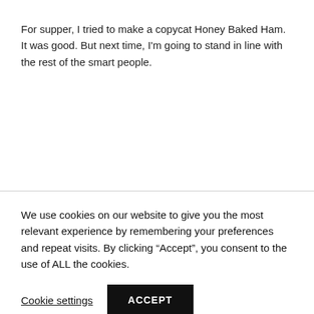For supper, I tried to make a copycat Honey Baked Ham. It was good. But next time, I'm going to stand in line with the rest of the smart people.
We use cookies on our website to give you the most relevant experience by remembering your preferences and repeat visits. By clicking “Accept”, you consent to the use of ALL the cookies.
Cookie settings
ACCEPT